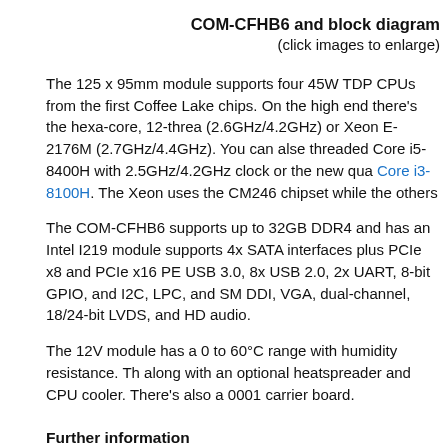COM-CFHB6 and block diagram
(click images to enlarge)
The 125 x 95mm module supports four 45W TDP CPUs from the first Coffee Lake chips. On the high end there's the hexa-core, 12-threaded (2.6GHz/4.2GHz) or Xeon E-2176M (2.7GHz/4.4GHz). You can also threaded Core i5-8400H with 2.5GHz/4.2GHz clock or the new quad Core i3-8100H. The Xeon uses the CM246 chipset while the others
The COM-CFHB6 supports up to 32GB DDR4 and has an Intel I219 module supports 4x SATA interfaces plus PCIe x8 and PCIe x16 PE USB 3.0, 8x USB 2.0, 2x UART, 8-bit GPIO, and I2C, LPC, and SM DDI, VGA, dual-channel, 18/24-bit LVDS, and HD audio.
The 12V module has a 0 to 60°C range with humidity resistance. T along with an optional heatspreader and CPU cooler. There's also a 0001 carrier board.
Further information
The HERO SDK Basic version is available now for free download, a